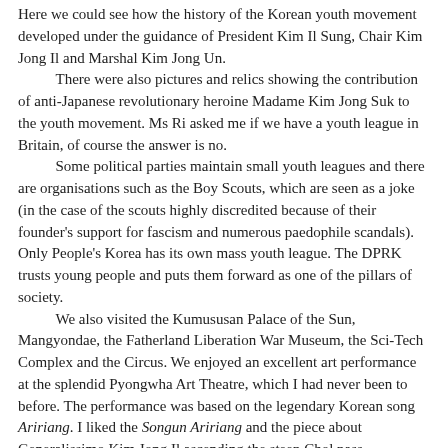Here we could see how the history of the Korean youth movement developed under the guidance of President Kim Il Sung, Chair Kim Jong Il and Marshal Kim Jong Un. There were also pictures and relics showing the contribution of anti-Japanese revolutionary heroine Madame Kim Jong Suk to the youth movement. Ms Ri asked me if we have a youth league in Britain, of course the answer is no. Some political parties maintain small youth leagues and there are organisations such as the Boy Scouts, which are seen as a joke (in the case of the scouts highly discredited because of their founder's support for fascism and numerous paedophile scandals). Only People's Korea has its own mass youth league. The DPRK trusts young people and puts them forward as one of the pillars of society. We also visited the Kumususan Palace of the Sun, Mangyondae, the Fatherland Liberation War Museum, the Sci-Tech Complex and the Circus. We enjoyed an excellent art performance at the splendid Pyongwha Art Theatre, which I had never been to before. The performance was based on the legendary Korean song Aririang. I liked the Songun Aririang and the piece about Generalissimo Kim Jong Il ascending the steep Chol pass.